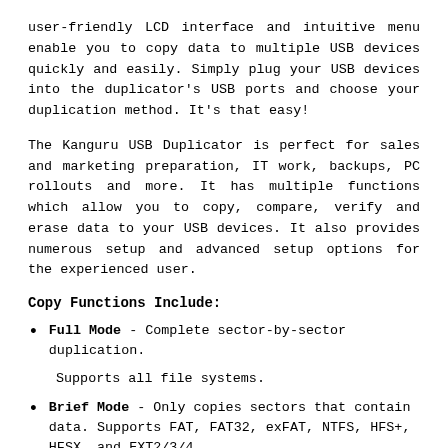user-friendly LCD interface and intuitive menu enable you to copy data to multiple USB devices quickly and easily. Simply plug your USB devices into the duplicator's USB ports and choose your duplication method. It's that easy!
The Kanguru USB Duplicator is perfect for sales and marketing preparation, IT work, backups, PC rollouts and more. It has multiple functions which allow you to copy, compare, verify and erase data to your USB devices. It also provides numerous setup and advanced setup options for the experienced user.
Copy Functions Include:
Full Mode - Complete sector-by-sector duplication. Supports all file systems.
Brief Mode - Only copies sectors that contain data. Supports FAT, FAT32, exFAT, NTFS, HFS+, HFSX, and EXT2/3/4
Key Features